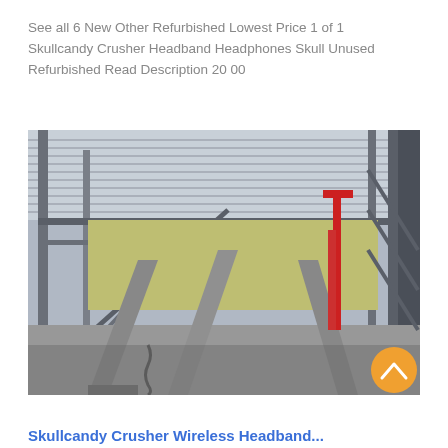See all 6 New Other Refurbished Lowest Price 1 of 1 Skullcandy Crusher Headband Headphones Skull Unused Refurbished Read Description 20 00
[Figure (photo): Interior of an industrial facility or warehouse showing steel framework, corrugated metal roof, conveyor belts, red crane equipment, and heavy machinery on a concrete floor.]
Skullcandy Crusher Wireless Headband...